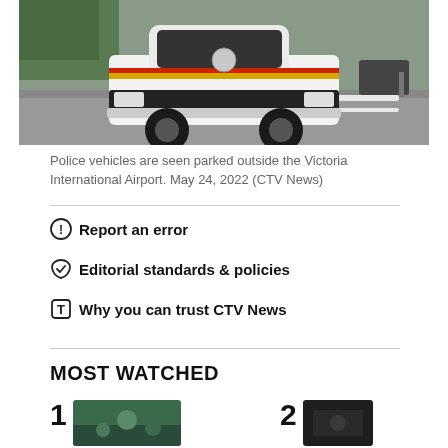[Figure (photo): Police SUV vehicle (RCMP) parked on a road outside Victoria International Airport]
Police vehicles are seen parked outside the Victoria International Airport. May 24, 2022 (CTV News)
Report an error
Editorial standards & policies
Why you can trust CTV News
MOST WATCHED
[Figure (photo): Thumbnail image 1 for most watched video]
[Figure (photo): Thumbnail image 2 for most watched video]